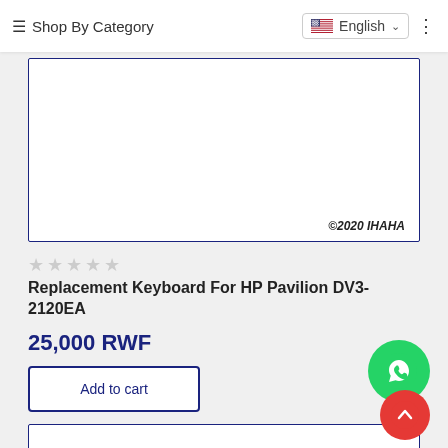≡ Shop By Category  English ∨
[Figure (other): Product image card with border showing ©2020 IHAHA copyright text]
★★★★★ (empty stars)
Replacement Keyboard For HP Pavilion DV3-2120EA
25,000 RWF
Add to cart
[Figure (other): WhatsApp contact button (green circle with WhatsApp icon)]
[Figure (other): Second product image card at bottom]
[Figure (other): Scroll to top button (orange/red circle with upward chevron)]